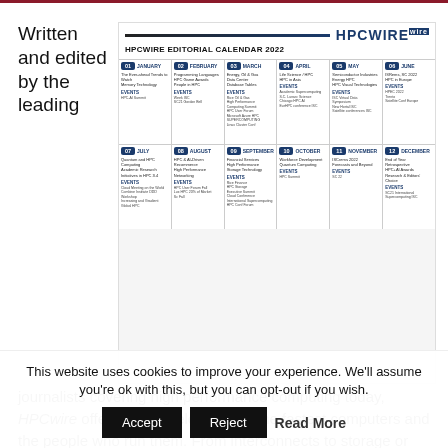Written and edited by the leading
[Figure (infographic): HPCwire Editorial Calendar 2022 showing 12 months in a grid layout with topics and events for each month]
journalists covering high performance computing today, HPCwire offers unparalleled look at the fastest computers and the people who run them. From interconnects to storage or academic to energy, we
This website uses cookies to improve your experience. We'll assume you're ok with this, but you can opt-out if you wish. Accept Reject Read More